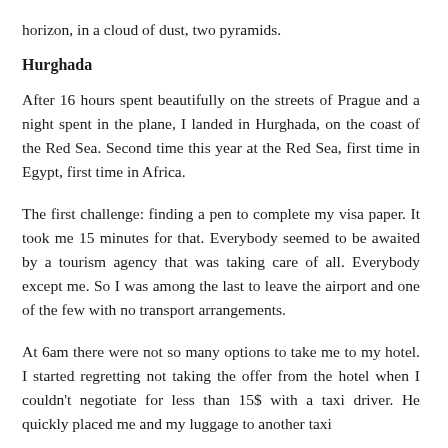horizon, in a cloud of dust, two pyramids.
Hurghada
After 16 hours spent beautifully on the streets of Prague and a night spent in the plane, I landed in Hurghada, on the coast of the Red Sea. Second time this year at the Red Sea, first time in Egypt, first time in Africa.
The first challenge: finding a pen to complete my visa paper. It took me 15 minutes for that. Everybody seemed to be awaited by a tourism agency that was taking care of all. Everybody except me. So I was among the last to leave the airport and one of the few with no transport arrangements.
At 6am there were not so many options to take me to my hotel. I started regretting not taking the offer from the hotel when I couldn't negotiate for less than 15$ with a taxi driver. He quickly placed me and my luggage to another taxi